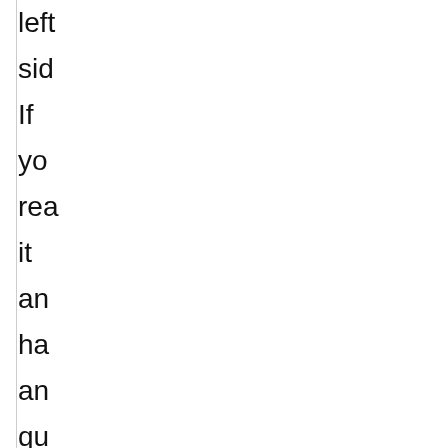left side If you read it and have any questions fire away
Posted at 04:PM in Bo | Pe | Co (1) | Tr (0)